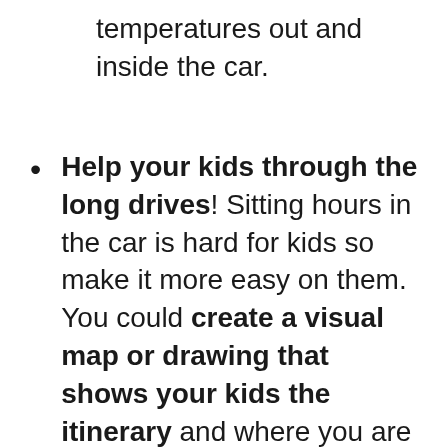temperatures out and inside the car.
Help your kids through the long drives! Sitting hours in the car is hard for kids so make it more easy on them. You could create a visual map or drawing that shows your kids the itinerary and where you are at the moment. Bring a bag of small, inexpensive